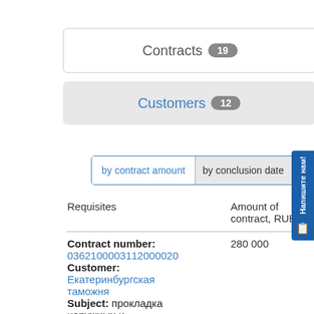Contracts 19
Customers 12
by contract amount | by conclusion date |
| Requisites | Amount of contract, RUB. |
| --- | --- |
| Contract number: 0362100003112000020
Customer: Екатеринбургская таможня
Subject: прокладка наружных и внутренних | 280 000 |